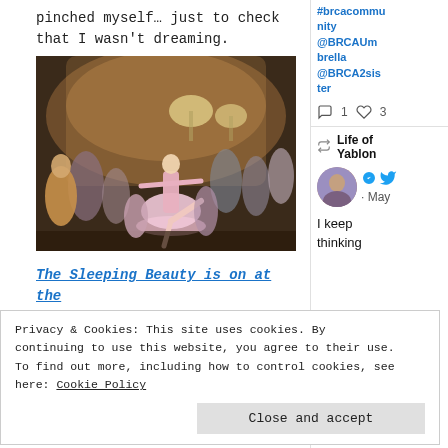pinched myself… just to check that I wasn't dreaming.
[Figure (photo): Ballet performance photo showing dancers on stage, with a lead ballerina in a pink tutu performing arabesque, surrounded by other costumed dancers at what appears to be a Sleeping Beauty production at the Royal Opera House.]
The Sleeping Beauty is on at the Royal Opera House until 9th April
#brcacommunity @BRCAUmbrella @BRCA2sister
1 comment, 3 likes
Life of Yablon · May
I keep thinking
Privacy & Cookies: This site uses cookies. By continuing to use this website, you agree to their use. To find out more, including how to control cookies, see here: Cookie Policy
Close and accept
shouldn't be